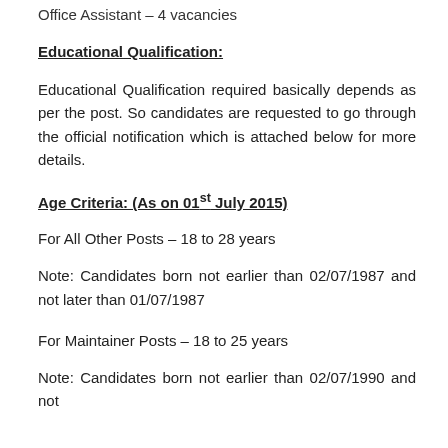Office Assistant – 4 vacancies
Educational Qualification:
Educational Qualification required basically depends as per the post. So candidates are requested to go through the official notification which is attached below for more details.
Age Criteria: (As on 01st July 2015)
For All Other Posts – 18 to 28 years
Note: Candidates born not earlier than 02/07/1987 and not later than 01/07/1987
For Maintainer Posts – 18 to 25 years
Note: Candidates born not earlier than 02/07/1990 and not